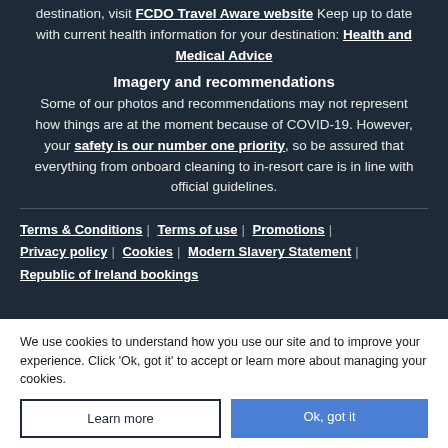destination, visit FCDO Travel Aware website Keep up to date with current health information for your destination: Health and Medical Advice
Imagery and recommendations
Some of our photos and recommendations may not represent how things are at the moment because of COVID-19. However, your safety is our number one priority, so be assured that everything from onboard cleaning to in-resort care is in line with official guidelines.
Terms & Conditions | Terms of use | Promotions | Privacy policy | Cookies | Modern Slavery Statement | Republic of Ireland bookings
We use cookies to understand how you use our site and to improve your experience. Click 'Ok, got it' to accept or learn more about managing your cookies.